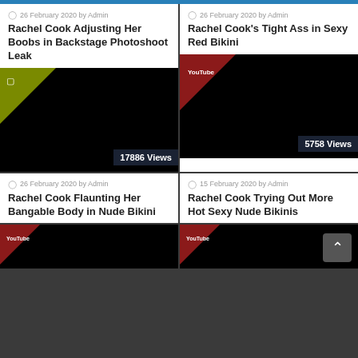top bar
26 February 2020 by Admin
Rachel Cook Adjusting Her Boobs in Backstage Photoshoot Leak
[Figure (photo): Black thumbnail with olive corner ribbon and view count badge showing 17886 Views]
26 February 2020 by Admin
Rachel Cook's Tight Ass in Sexy Red Bikini
[Figure (photo): Black thumbnail with red corner ribbon and YouTube icon, view count badge showing 5758 Views]
26 February 2020 by Admin
Rachel Cook Flaunting Her Bangable Body in Nude Bikini
15 February 2020 by Admin
Rachel Cook Trying Out More Hot Sexy Nude Bikinis
[Figure (photo): Black thumbnail with red corner ribbon and YouTube icon (bottom left)]
[Figure (photo): Black thumbnail with red corner ribbon and YouTube icon (bottom right)]